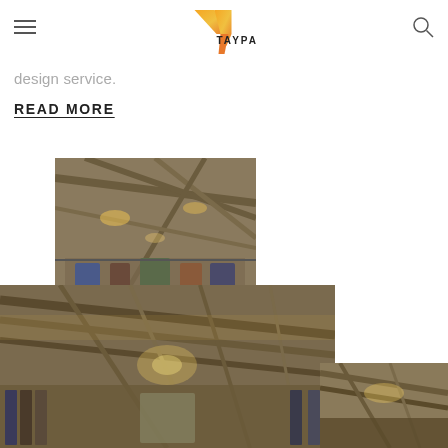TAYPA
design service.
READ MORE
[Figure (photo): Interior of a clothing retail store with hanging garments and wooden ceiling beams with warm lighting - top view]
[Figure (photo): Interior of a clothing retail store with hanging garments, wooden ceiling beams, warm ambient lighting - wide angle view]
[Figure (photo): Partial view of store interior with warm lighting]